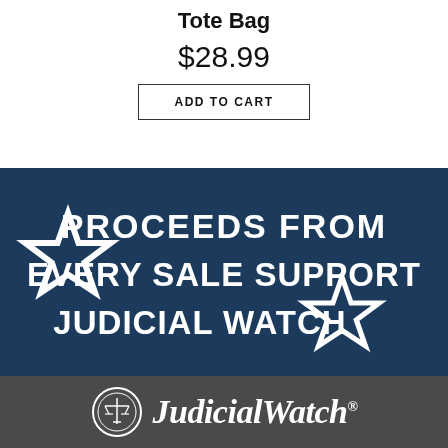Tote Bag
$28.99
ADD TO CART
[Figure (infographic): Dark navy blue banner with two white outlined stars and text: PROCEEDS FROM EVERY SALE SUPPORT JUDICIAL WATCH]
[Figure (logo): Judicial Watch logo on dark gray background with circular seal icon and serif wordmark 'JudicialWatch' with registered trademark symbol]